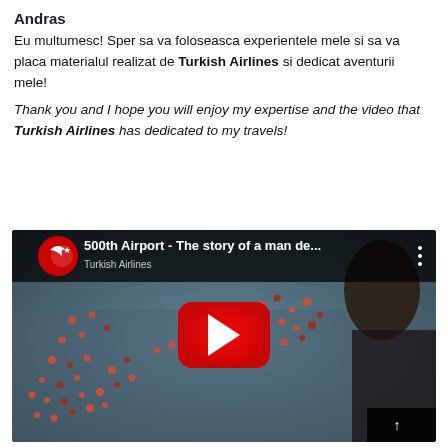Andras
Eu multumesc! Sper sa va foloseasca experientele mele si sa va placa materialul realizat de Turkish Airlines si dedicat aventurii mele!
Thank you and I hope you will enjoy my expertise and the video that Turkish Airlines has dedicated to my travels!
[Figure (screenshot): YouTube video thumbnail showing a map with pins and a person, titled '500th Airport - The story of a man de...' with Turkish Airlines logo and YouTube play button]